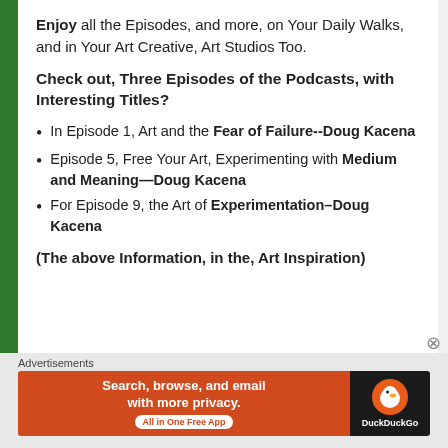Enjoy all the Episodes, and more, on Your Daily Walks, and in Your Art Creative, Art Studios Too.
Check out, Three Episodes of the Podcasts, with Interesting Titles?
In Episode 1, Art and the Fear of Failure--Doug Kacena
Episode 5, Free Your Art, Experimenting with Medium and Meaning—Doug Kacena
For Episode 9, the Art of Experimentation–Doug Kacena
(The above Information, in the, Art Inspiration)
Advertisements
[Figure (other): DuckDuckGo advertisement banner: Search, browse, and email with more privacy. All in One Free App]